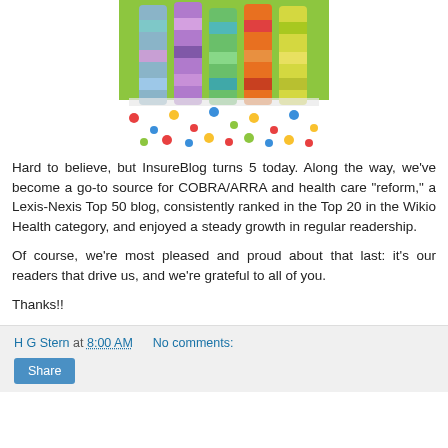[Figure (photo): Colorful striped cylindrical tubes/candles on a polka-dot tablecloth background, celebrating a birthday]
Hard to believe, but InsureBlog turns 5 today. Along the way, we've become a go-to source for COBRA/ARRA and health care "reform," a Lexis-Nexis Top 50 blog, consistently ranked in the Top 20 in the Wikio Health category, and enjoyed a steady growth in regular readership.
Of course, we're most pleased and proud about that last: it's our readers that drive us, and we're grateful to all of you.
Thanks!!
H G Stern at 8:00 AM   No comments:   Share